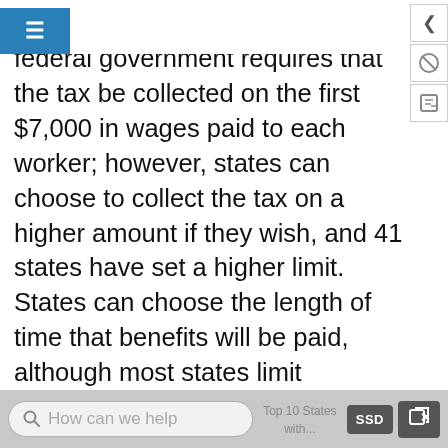≡
tax collected from employers. The federal government requires that the tax be collected on the first $7,000 in wages paid to each worker; however, states can choose to collect the tax on a higher amount if they wish, and 41 states have set a higher limit. States can choose the length of time that benefits will be paid, although most states limit unemployment benefits to 26 weeks—with extensions possible in times of especially high unemployment. The fund is then used to pay benefits to those who become unemployed. Average unemployment benefits are equal to about one-third of the wage earned by the person in his or her previous job, but the level of unemployment benefits varies considerably across states.
How can we help  SSD